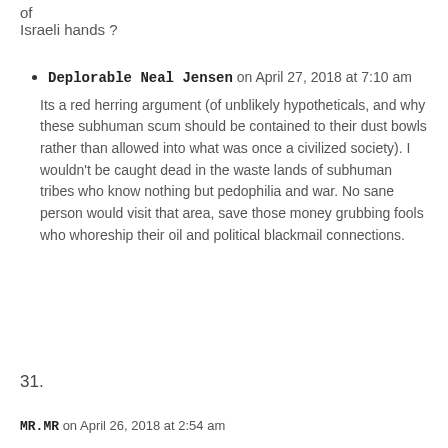of
Israeli hands ?
Deplorable Neal Jensen on April 27, 2018 at 7:10 am
Its a red herring argument (of unblikely hypotheticals, and why these subhuman scum should be contained to their dust bowls rather than allowed into what was once a civilized society). I wouldn't be caught dead in the waste lands of subhuman tribes who know nothing but pedophilia and war. No sane person would visit that area, save those money grubbing fools who whoreship their oil and political blackmail connections.
31.
MR.MR on April 26, 2018 at 2:54 am